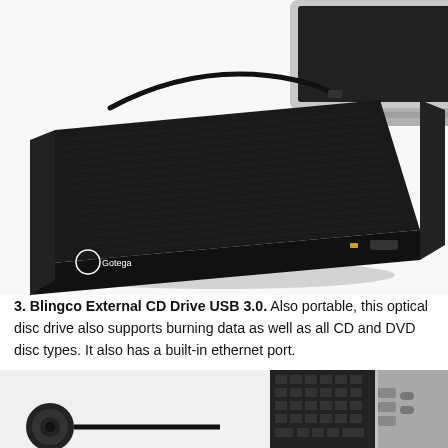[Figure (photo): Photo of a black Gotega external CD/DVD drive connected via USB cable to a laptop computer. The drive is flat and rectangular with brushed texture top, yellow indicator LED, and eject button on the front face. A laptop is visible in the upper right corner.]
3. Blingco External CD Drive USB 3.0. Also portable, this optical disc drive also supports burning data as well as all CD and DVD disc types. It also has a built-in ethernet port.
[Figure (photo): Partial photo showing the side ports of a silver MacBook laptop with USB ports visible, and a separate circular black USB cable connector in the lower left corner.]